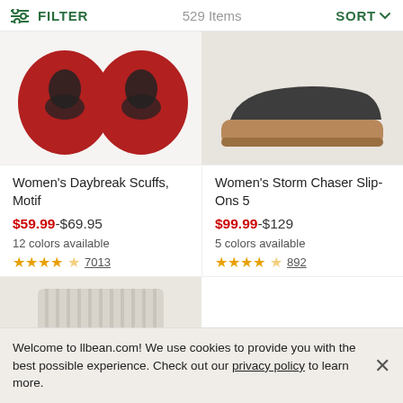FILTER  529 Items  SORT
[Figure (photo): Top-down view of red wool slippers/scuffs with black cat motif design on the soles, showing both shoes side by side]
[Figure (photo): Side view of a women's slip-on shoe with brown rubber sole, dark upper, shown from the sole/bottom angle]
Women's Daybreak Scuffs, Motif
Women's Storm Chaser Slip-Ons 5
$59.99-$69.95
$99.99-$129
12 colors available
5 colors available
★★★★½ 7013
★★★★½ 892
[Figure (photo): Close-up view of grey ribbed knit wool fabric, appearing to be the cuff or upper portion of a knit boot or slipper]
Welcome to llbean.com! We use cookies to provide you with the best possible experience. Check out our privacy policy to learn more.